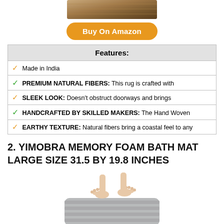[Figure (photo): Partial image of a rug/mat product at the top of the page]
Buy On Amazon
| Features: |
| --- |
| ✓  Made in India |
| ✓  PREMIUM NATURAL FIBERS: This rug is crafted with |
| ✓  SLEEK LOOK: Doesn't obstruct doorways and brings |
| ✓  HANDCRAFTED BY SKILLED MAKERS: The Hand Woven |
| ✓  EARTHY TEXTURE: Natural fibers bring a coastal feel to any |
2. YIMOBRA MEMORY FOAM BATH MAT LARGE SIZE 31.5 BY 19.8 INCHES
[Figure (photo): Feet standing on a grey memory foam bath mat]